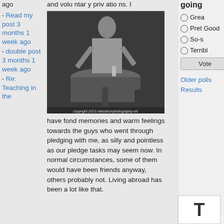ago
Read my post 3 months 1 week ago
double post 3 months 1 week ago
Re: Teaching in the
and voluntary privations. I have fond memories and warm feelings towards the guys who went through pledging with me, as silly and pointless as our pledge tasks may seem now. In normal circumstances, some of them would have been friends anyway, others probably not. Living abroad has been a lot like that.
[Figure (photo): Black and white photo of a person standing near a round table, with chairs visible. Caption reads: copyright 2013 mikedixonphotography.net]
going
Grea
Pret Good
So-s
Terribl
Vote
Older polls Results